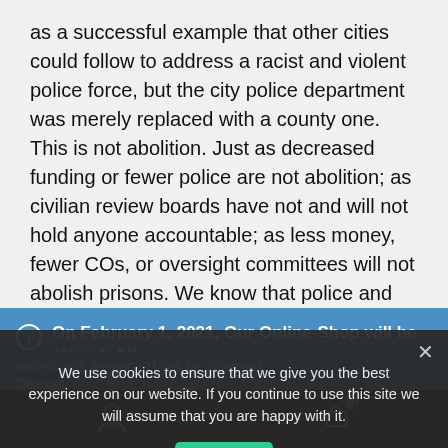as a successful example that other cities could follow to address a racist and violent police force, but the city police department was merely replaced with a county one. This is not abolition. Just as decreased funding or fewer police are not abolition; as civilian review boards have not and will not hold anyone accountable; as less money, fewer COs, or oversight committees will not abolish prisons. We know that police and prisons cannot be abolished from this society: they need each other. Political prisoners, prison rebels, and those who refuse to submit will be
On February 1, 2021, Our Online-Shop will be closed. All orders until January 31 will be delivered
Dismiss
We use cookies to ensure that we give you the best experience on our website. If you continue to use this site we will assume that you are happy with it.